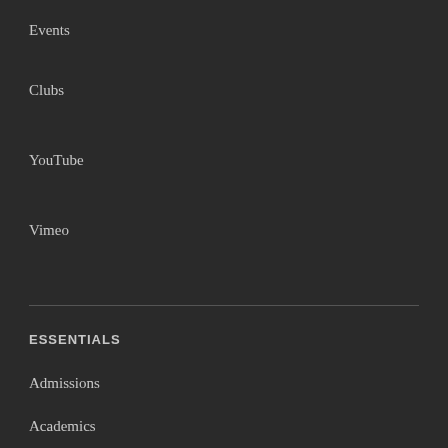Events
Clubs
YouTube
Vimeo
ESSENTIALS
Admissions
Academics
Sports
Facilities
The Red Chair
QUICK LINKS